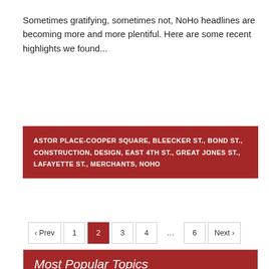Sometimes gratifying, sometimes not, NoHo headlines are becoming more and more plentiful. Here are some recent highlights we found...
ASTOR PLACE-COOPER SQUARE, BLEECKER ST., BOND ST., CONSTRUCTION, DESIGN, EAST 4TH ST., GREAT JONES ST., LAFAYETTE ST., MERCHANTS, NOHO
‹ Prev  1  2  3  4  ...  6  Next ›
Most Popular Topics
Aicon Gallery, Arts, Astor Center, Astor Place, Bars & Restaurants, Bleecker St., Bond St.